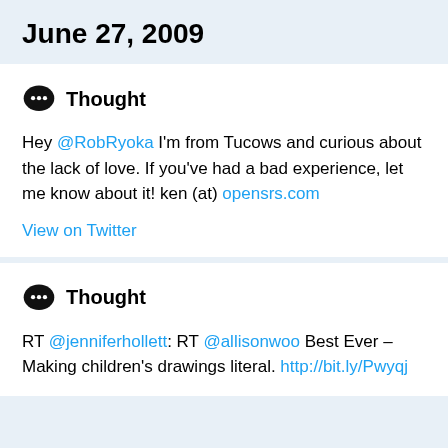June 27, 2009
Thought
Hey @RobRyoka I'm from Tucows and curious about the lack of love. If you've had a bad experience, let me know about it! ken (at) opensrs.com
View on Twitter
Thought
RT @jenniferhollett: RT @allisonwoo Best Ever – Making children's drawings literal. http://bit.ly/Pwyqj